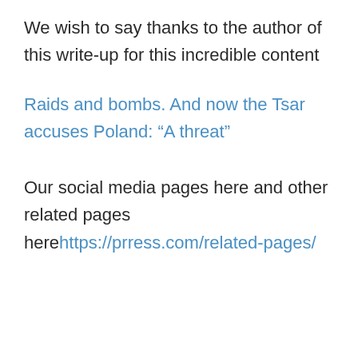We wish to say thanks to the author of this write-up for this incredible content
Raids and bombs. And now the Tsar accuses Poland: “A threat”
Our social media pages here and other related pages here https://prress.com/related-pages/